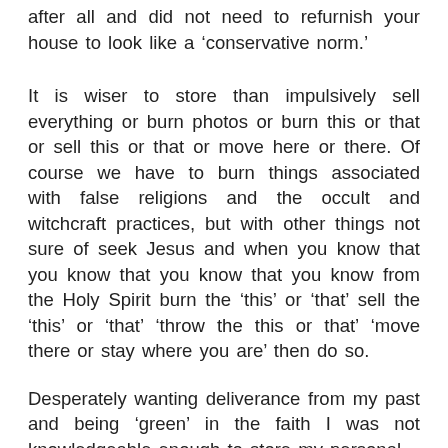after all and did not need to refurnish your house to look like a 'conservative norm.'
It is wiser to store than impulsively sell everything or burn photos or burn this or that or sell this or that or move here or there. Of course we have to burn things associated with false religions and the occult and witchcraft practices, but with other things not sure of seek Jesus and when you know that you know that you know that you know from the Holy Spirit burn the 'this' or 'that' sell the 'this' or 'that' 'throw the this or that' 'move there or stay where you are' then do so.
Desperately wanting deliverance from my past and being 'green' in the faith I was not knowledgeable enough to store my personal